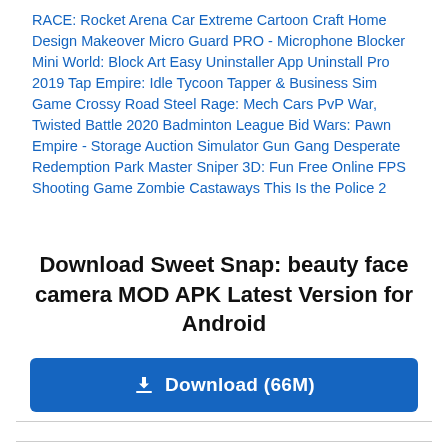RACE: Rocket Arena Car Extreme Cartoon Craft Home Design Makeover Micro Guard PRO - Microphone Blocker Mini World: Block Art Easy Uninstaller App Uninstall Pro 2019 Tap Empire: Idle Tycoon Tapper & Business Sim Game Crossy Road Steel Rage: Mech Cars PvP War, Twisted Battle 2020 Badminton League Bid Wars: Pawn Empire - Storage Auction Simulator Gun Gang Desperate Redemption Park Master Sniper 3D: Fun Free Online FPS Shooting Game Zombie Castaways This Is the Police 2
Download Sweet Snap: beauty face camera MOD APK Latest Version for Android
Download (66M)